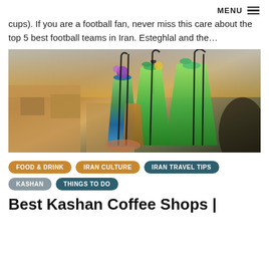MENU
cups). If you are a football fan, never miss this care about the top 5 best football teams in Iran. Esteghlal and the...
[Figure (photo): Colorful cocktail drinks with straws on a rooftop terrace with traditional mud-brick architecture in the background, warm golden light.]
FOOD & DRINK
IRAN CULTURE
IRAN TRAVEL TIPS
KASHAN
THINGS TO DO
Best Kashan Coffee Shops |